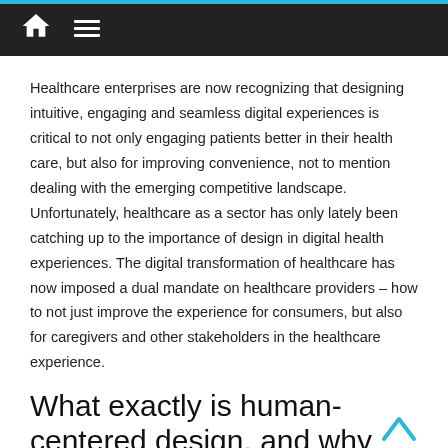Navigation bar with home and menu icons
Healthcare enterprises are now recognizing that designing intuitive, engaging and seamless digital experiences is critical to not only engaging patients better in their health care, but also for improving convenience, not to mention dealing with the emerging competitive landscape. Unfortunately, healthcare as a sector has only lately been catching up to the importance of design in digital health experiences. The digital transformation of healthcare has now imposed a dual mandate on healthcare providers – how to not just improve the experience for consumers, but also for caregivers and other stakeholders in the healthcare experience.
What exactly is human-centered design, and why